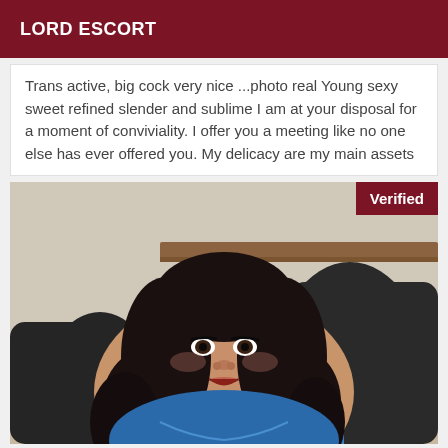LORD ESCORT
Trans active, big cock very nice ...photo real Young sexy sweet refined slender and sublime I am at your disposal for a moment of conviviality. I offer you a meeting like no one else has ever offered you. My delicacy are my main assets
[Figure (photo): Portrait photo of a person with long dark curly hair and bangs, wearing a blue outfit, seated in a black leather chair. A 'Verified' badge appears in the top-right corner of the image.]